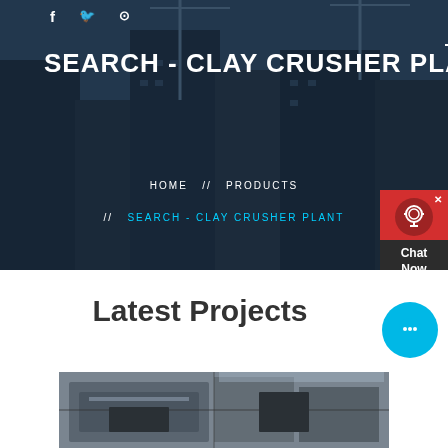[Figure (photo): Hero banner with construction site background showing cranes and buildings under a dark overlay]
SEARCH - CLAY CRUSHER PLANT
HOME  //  PRODUCTS  //  SEARCH - CLAY CRUSHER PLANT
[Figure (other): Red chat widget with headset icon and Chat Now label]
Latest Projects
[Figure (photo): Industrial crusher machine in a large facility]